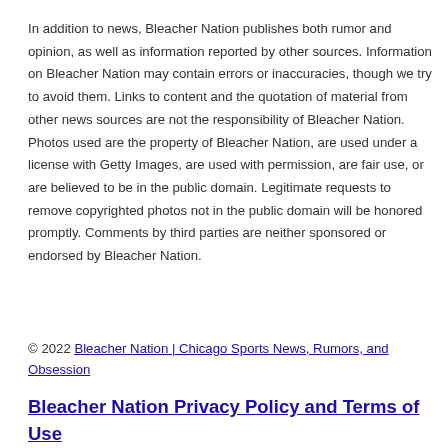In addition to news, Bleacher Nation publishes both rumor and opinion, as well as information reported by other sources. Information on Bleacher Nation may contain errors or inaccuracies, though we try to avoid them. Links to content and the quotation of material from other news sources are not the responsibility of Bleacher Nation. Photos used are the property of Bleacher Nation, are used under a license with Getty Images, are used with permission, are fair use, or are believed to be in the public domain. Legitimate requests to remove copyrighted photos not in the public domain will be honored promptly. Comments by third parties are neither sponsored or endorsed by Bleacher Nation.
© 2022 Bleacher Nation | Chicago Sports News, Rumors, and Obsession
Bleacher Nation Privacy Policy and Terms of Use
. Bleacher Nation is a private media site, and it is not affiliated in any way with Major League...